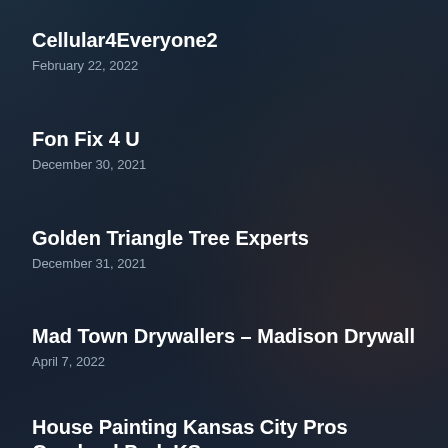Cellular4Everyone2
February 22, 2022
Fon Fix 4 U
December 30, 2021
Golden Triangle Tree Experts
December 31, 2021
Mad Town Drywallers – Madison Drywall
April 7, 2022
House Painting Kansas City Pros Overland Park KS
December 20, 2021